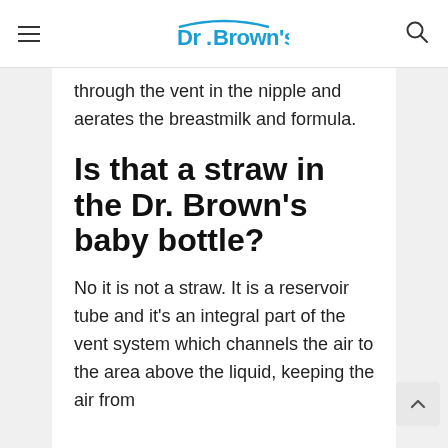Dr. Brown's
through the vent in the nipple and aerates the breastmilk and formula.
Is that a straw in the Dr. Brown's baby bottle?
No it is not a straw. It is a reservoir tube and it's an integral part of the vent system which channels the air to the area above the liquid, keeping the air from